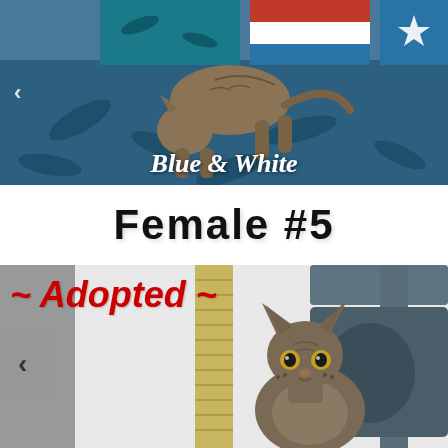[Figure (photo): A hairless Sphynx kitten bending down on a blue patterned blanket/fabric with colorful flags or decorations in the background. Text overlay reads 'Blue & White' in white script font.]
Female #5
[Figure (photo): An adult hairless Sphynx cat sitting near a cat tree with a sisal scratching post and dark grey carpeted platforms, looking directly at the camera. Text overlay reads '~ Adopted ~' in red italic script.]